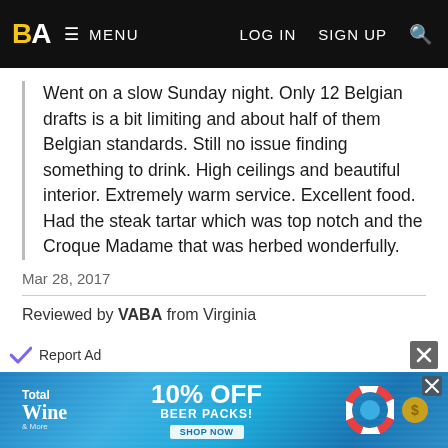BA ≡ MENU   LOG IN   SIGN UP  🔍
Went on a slow Sunday night. Only 12 Belgian drafts is a bit limiting and about half of them Belgian standards. Still no issue finding something to drink. High ceilings and beautiful interior. Extremely warm service. Excellent food. Had the steak tartar which was top notch and the Croque Madame that was herbed wonderfully.
Mar 28, 2017
Reviewed by VABA from Virginia
4/5  rDev -9.5%
vibe: 4 | quality: 4 | service: 4 | selection: 4 | food: 4
An upscale restaurant with a good selection of Belgian beers. The food was good but pricey, as was the beer selection on tap. Never-the-less I am glad I visited.
[Figure (screenshot): Total Wine advertisement banner — '10% OFF BEER PACKS' promotion with pool/summer background]